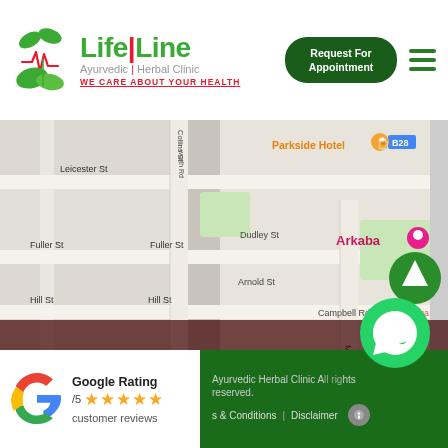[Figure (logo): Life Line Ayurvedic Herbal Clinic logo with green leaf icon and red/green text. Tagline: WE CARE ABOUT YOUR HEALTH]
Request For Appointment
[Figure (map): Google Maps screenshot showing streets: Leicester St, Fuller St, Hill St, Dudley St, Arnold St, Campbell Rd, Collins St, Parkside Hotel, Arkaba, B28 marker]
ONLINE VIDEO CHAT & PHONE CONSULTATION AVAILABLE. YOU CAN GET REQUIRED HERBS BY AUSTRALIAN POST
[Figure (illustration): WhatsApp green circle button with phone icon]
[Figure (logo): Google G logo in multicolor]
Google Rating /5 ★★★★★ customer reviews
Ayurvedic Herbal Clinic All rights reserved.
Terms & Conditions  |  Disclaimer